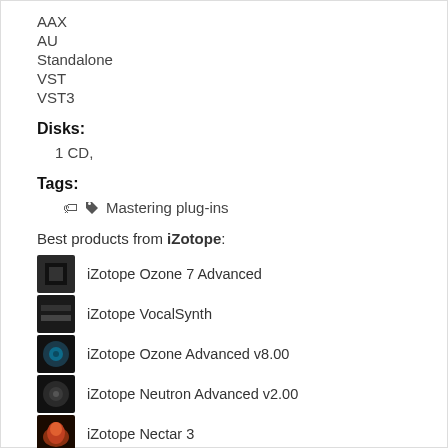AAX
AU
Standalone
VST
VST3
Disks:
1 CD,
Tags:
Mastering plug-ins
Best products from iZotope:
iZotope Ozone 7 Advanced
iZotope VocalSynth
iZotope Ozone Advanced v8.00
iZotope Neutron Advanced v2.00
iZotope Nectar 3
iZotope RX 8 Audio Editor Advanced
iZotope RX 7 Advanced Audio Editor